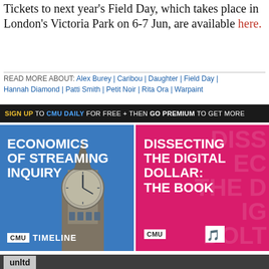Tickets to next year's Field Day, which takes place in London's Victoria Park on 6-7 Jun, are available here.
READ MORE ABOUT: Alex Burey | Caribou | Daughter | Field Day | Hannah Diamond | Patti Smith | Petit Noir | Rita Ora | Warpaint
SIGN UP TO CMU DAILY FOR FREE + THEN GO PREMIUM TO GET MORE
[Figure (photo): Left promotional image: Blue background with Big Ben clock tower photo. Text reads 'ECONOMICS OF STREAMING INQUIRY'. CMU TIMELINE label at bottom.]
[Figure (photo): Right promotional image: Pink/magenta background. Text reads 'DISSECTING THE DIGITAL DOLLAR: THE BOOK'. CMU label at bottom with logo.]
unltd